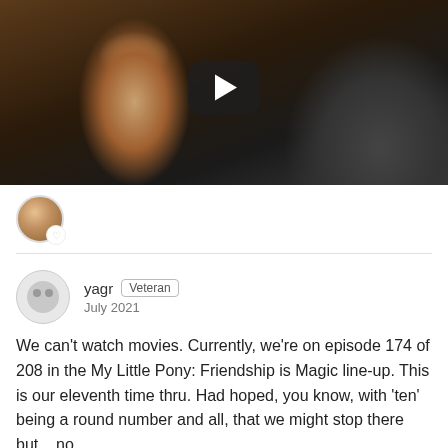[Figure (screenshot): Video thumbnail showing a woman in a dark outfit, with a dark play button overlay in the center]
[Figure (photo): Small circular avatar photo of a woman with light hair]
yagr  Veteran
July 2021

We can't watch movies. Currently, we're on episode 174 of 208 in the My Little Pony: Friendship is Magic line-up. This is our eleventh time thru. Had hoped, you know, with 'ten' being a round number and all, that we might stop there but....no.